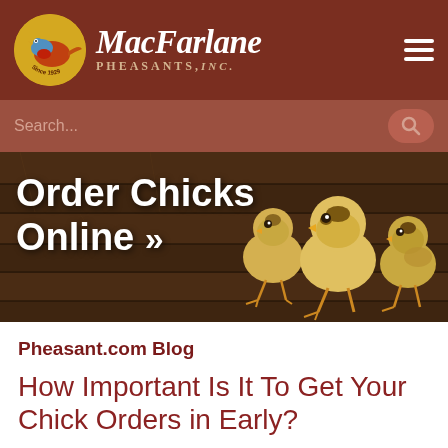MacFarlane Pheasants, Inc.
[Figure (screenshot): MacFarlane Pheasants website header with logo (circular badge with pheasant bird on golden background, 'Since 1929'), brand name 'MacFarlane Pheasants, Inc.' in white italic text, and hamburger menu icon, all on dark red/maroon background. Below: a medium brown search bar with 'Search...' placeholder and search button.]
[Figure (photo): Promotional banner with dark wood plank background. Large white bold text reads 'Order Chicks Online »' on left. Right side shows photograph of three fluffy baby pheasant chicks standing together.]
Pheasant.com Blog
How Important Is It To Get Your Chick Orders in Early?
On January 31, 2022 in General by snone